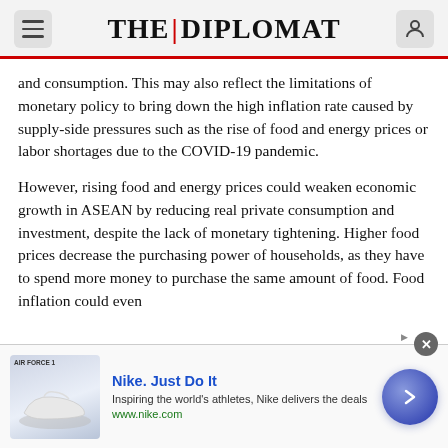THE DIPLOMAT
and consumption. This may also reflect the limitations of monetary policy to bring down the high inflation rate caused by supply-side pressures such as the rise of food and energy prices or labor shortages due to the COVID-19 pandemic.
However, rising food and energy prices could weaken economic growth in ASEAN by reducing real private consumption and investment, despite the lack of monetary tightening. Higher food prices decrease the purchasing power of households, as they have to spend more money to purchase the same amount of food. Food inflation could even
[Figure (screenshot): Nike advertisement banner at the bottom of the page with Nike Air Force 1 shoe image, 'Nike. Just Do It' heading, tagline 'Inspiring the world's athletes, Nike delivers the deals', URL www.nike.com, and a blue circular CTA arrow button.]